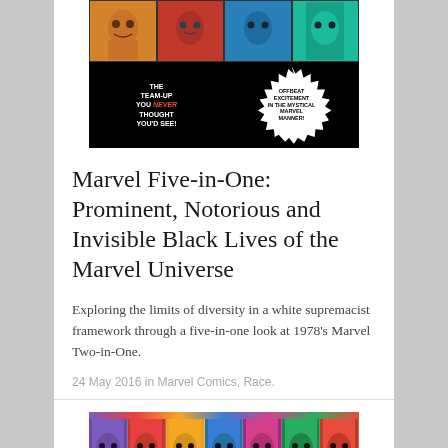[Figure (illustration): Marvel comic book cover collage showing superhero faces in colorful grid with text 'The team-up you never thought you'd see!' and starburst reading 'Offbeat excitement in the mystical Marvel manner!']
Marvel Five-in-One: Prominent, Notorious and Invisible Black Lives of the Marvel Universe
Exploring the limits of diversity in a white supremacist framework through a five-in-one look at 1978's Marvel Two-in-One.
24 May 2016 in Marvel Comics, Race.
[Figure (illustration): Colorful comic-style illustration showing female superhero faces in a row against vivid colored backgrounds]